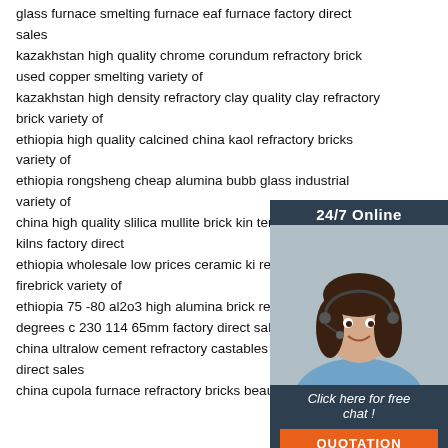glass furnace smelting furnace eaf furnace factory direct sales
kazakhstan high quality chrome corundum refractory brick used copper smelting variety of
kazakhstan high density refractory clay quality clay refractory brick variety of
ethiopia high quality calcined china kaol refractory bricks variety of
ethiopia rongsheng cheap alumina bubb glass industrial variety of
china high quality slilica mullite brick kin temperature furnace kilns factory direct
ethiopia wholesale low prices ceramic ki resistant ceramic firebrick variety of
ethiopia 75 -80 al2o3 high alumina brick refractoriness 1790 degrees c 230 114 65mm factory direct sales
china ultralow cement refractory castables product factory direct sales
china cupola furnace refractory bricks beautiful appearance
[Figure (infographic): Customer service chat widget with a woman wearing a headset, dark blue background, '24/7 Online' label, 'Click here for free chat!' text, and orange QUOTATION button]
[Figure (infographic): Orange TOP badge with dot pattern above the text TOP in bold orange letters]